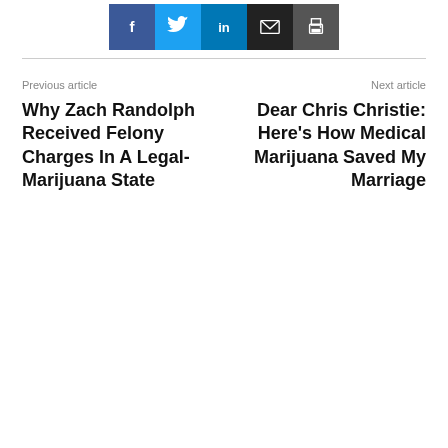[Figure (other): Social sharing buttons: Facebook (blue), Twitter (cyan), LinkedIn (dark blue), Email (black), Print (dark gray)]
Previous article
Why Zach Randolph Received Felony Charges In A Legal-Marijuana State
Next article
Dear Chris Christie: Here's How Medical Marijuana Saved My Marriage